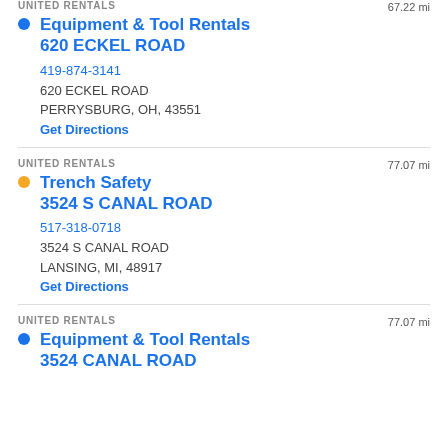UNITED RENTALS — 67.22 mi
Equipment & Tool Rentals
620 ECKEL ROAD
419-874-3141
620 ECKEL ROAD
PERRYSBURG, OH, 43551
Get Directions
UNITED RENTALS — 77.07 mi
Trench Safety
3524 S CANAL ROAD
517-318-0718
3524 S CANAL ROAD
LANSING, MI, 48917
Get Directions
UNITED RENTALS — 77.07 mi
Equipment & Tool Rentals
3524 CANAL ROAD